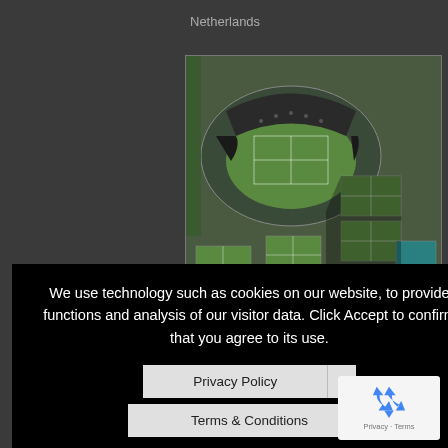Netherlands
[Figure (photo): Aerial view of Wimbledon tennis complex showing multiple grass courts packed with spectators, with the main Centre Court stadium visible]
We use technology such as cookies on our website, to provide functions and analysis of our visitor data. Click Accept to confirm that you agree to its use.
Privacy Policy  |  Terms & Conditions
ACCEPT
[Figure (logo): Google reCAPTCHA badge with recycling arrow icon and Privacy - Terms text]